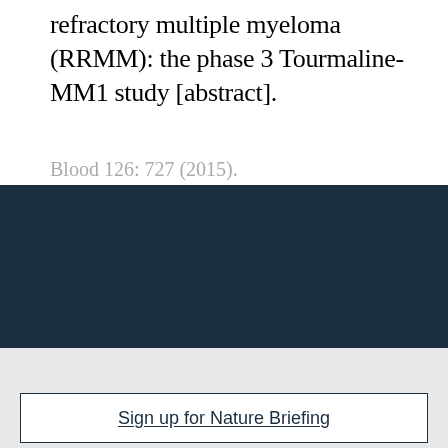refractory multiple myeloma (RRMM): the phase 3 Tourmaline-MM1 study [abstract].
Blood 126: 727 (2015).
Your Privacy
We use cookies to make sure that our website works properly, as well as some 'optional' cookies to personalise content and advertising, provide social media features and analyse how people use our site. By accepting some or all optional cookies you give consent to the processing of your personal data, including transfer to third parties, some in countries outside of the European Economic Area that do not offer the same data protection standards as the country where you live. You can decide which optional cookies to accept by clicking on 'Manage Settings', where you can
Get the most important science stories of the day, free in your inbox.
Sign up for Nature Briefing